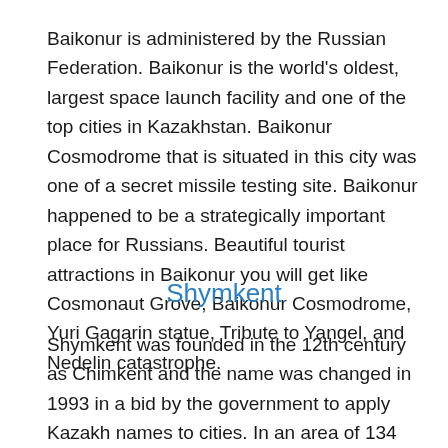Baikonur is administered by the Russian Federation. Baikonur is the world's oldest, largest space launch facility and one of the top cities in Kazakhstan. Baikonur Cosmodrome that is situated in this city was one of a secret missile testing site. Baikonur happened to be a strategically important place for Russians. Beautiful tourist attractions in Baikonur you will get like Cosmonaut Grove, Baikonur Cosmodrome, Yuri Gagarin statue, Tribute to Yangel, and Nedelin catastrophe.
Shymkent
Shymkent was founded in the 12th century as Chimkent and the name was changed in 1993 in a bid by the government to apply Kazakh names to cities. In an area of 134 square miles, the total population is approximately 854,500 living here. Shymkent is traditionally known to